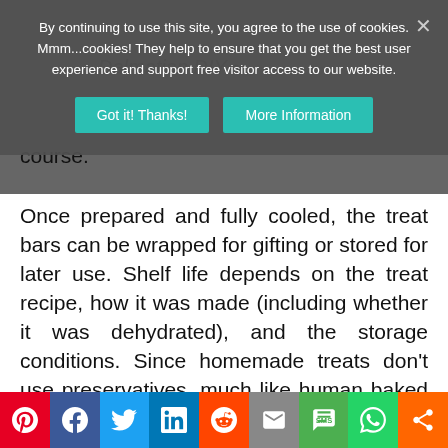Dalmatian DIY
By continuing to use this site, you agree to the use of cookies. Mmm...cookies! They help to ensure that you get the best user experience and support free visitor access to our website.
course.
Once prepared and fully cooled, the treat bars can be wrapped for gifting or stored for later use. Shelf life depends on the treat recipe, how it was made (including whether it was dehydrated), and the storage conditions. Since homemade treats don't use preservatives, much like human baked goods, they're typically best consumed within a few days of baking, carefully stored, and/or frozen for longer-term storage.  I freeze most of our
Pinterest Facebook Twitter LinkedIn Reddit Email SMS WhatsApp Share